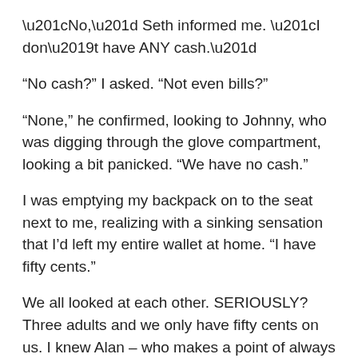“No,” Seth informed me. “I don’t have ANY cash.”
“No cash?” I asked. “Not even bills?”
“None,” he confirmed, looking to Johnny, who was digging through the glove compartment, looking a bit panicked. “We have no cash.”
I was emptying my backpack on to the seat next to me, realizing with a sinking sensation that I’d left my entire wallet at home. “I have fifty cents.”
We all looked at each other. SERIOUSLY? Three adults and we only have fifty cents on us. I knew Alan – who makes a point of always having cash on him – would face-palm just thinking about it.
“What are we going to do?” Seth asked as we creeped